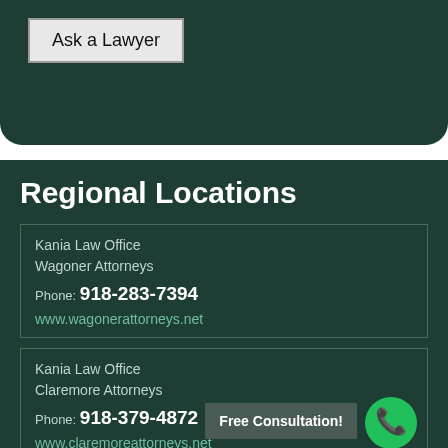Ask a Lawyer
Regional Locations
Kania Law Office
Wagoner Attorneys

Phone: 918-283-7394

www.wagonerattorneys.net
Kania Law Office
Claremore Attorneys

Phone: 918-379-4872

www.claremoreattorneys.net
Free Consultation!